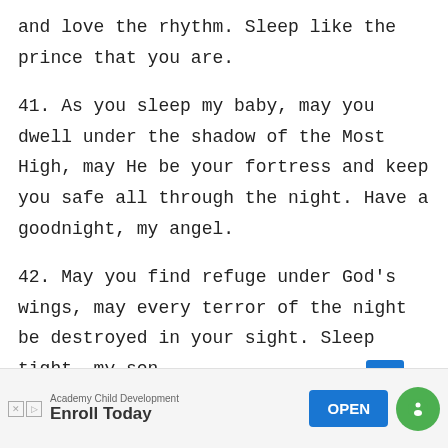and love the rhythm. Sleep like the prince that you are.
41. As you sleep my baby, may you dwell under the shadow of the Most High, may He be your fortress and keep you safe all through the night. Have a goodnight, my angel.
42. May you find refuge under God’s wings, may every terror of the night be destroyed in your sight. Sleep tight, my son.
43. I know your eyes are heavy for sleep, I pray that the angels will keep all harm and dangers far
[Figure (infographic): Advertisement banner: Academy Child Development, Enroll Today, with OPEN button and chat icon]